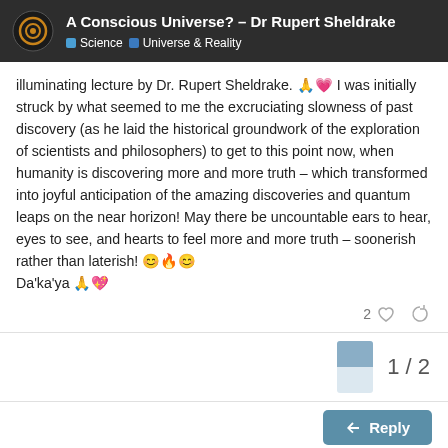A Conscious Universe? – Dr Rupert Sheldrake | Science | Universe & Reality
illuminating lecture by Dr. Rupert Sheldrake. 🙏💗 I was initially struck by what seemed to me the excruciating slowness of past discovery (as he laid the historical groundwork of the exploration of scientists and philosophers) to get to this point now, when humanity is discovering more and more truth – which transformed into joyful anticipation of the amazing discoveries and quantum leaps on the near horizon! May there be uncountable ears to hear, eyes to see, and hearts to feel more and more truth – soonerish rather than laterish! 😊🔥😊 Da'ka'ya 🙏💖
2 ♡ 🔗
1 / 2
↩ Reply
Suggested Topics